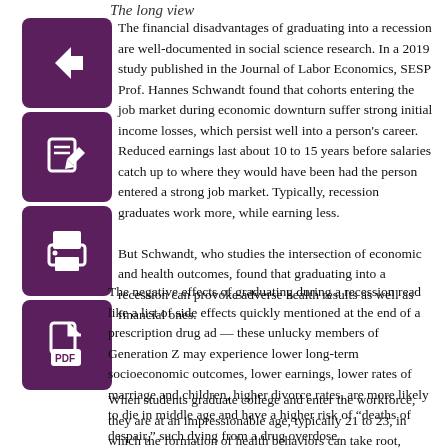The long view
[Figure (illustration): Four purple square icon buttons with white symbols: back arrow, edit/pencil, print, and PDF file icons stacked vertically on the left side of the page.]
The financial disadvantages of graduating into a recession are well-documented in social science research. In a 2019 study published in the Journal of Labor Economics, SESP Prof. Hannes Schwandt found that cohorts entering the job market during economic downturn suffer strong initial income losses, which persist well into a person's career. Reduced earnings last about 10 to 15 years before salaries catch up to where they would have been had the person entered a strong job market. Typically, recession graduates work more, while earning less.

But Schwandt, who studies the intersection of economic and health outcomes, found that graduating into a recession can provoke adverse health results as well as financial ones.
The negative effects of graduating during a recession read like a list of side effects quickly mentioned at the end of a prescription drug ad — these unlucky members of Generation Z may experience lower long-term socioeconomic outcomes, lower earnings, lower rates of marriage and children, higher divorce rates, are more likely to die in middle age and have a higher risk of “deaths of despair,” such dying from a drug overdose.
When students graduate college and enter the workforce, they are at an impressionable age, typically 21 to 23, in which the formation of health behaviors can take root, Schwandt said. The stress and potential earnings